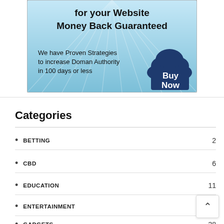[Figure (illustration): Advertisement banner with light blue sky background and radiating rays. Text reads 'for your Website Money Back Guaranteed' and 'We have Proven Strategies to increase Doman Authority in 100 days or less' with a dark navy cloud shape containing 'Buy Now' button.]
Categories
BETTING 2
CBD 6
EDUCATION 11
ENTERTAINMENT
GADGETS 38